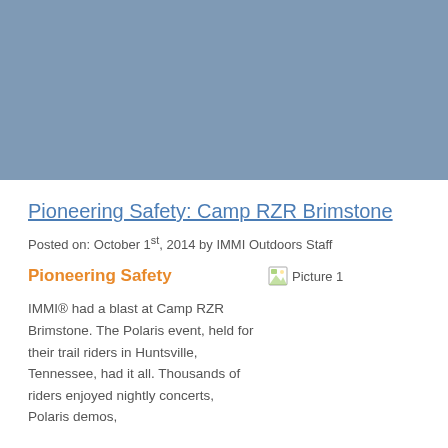[Figure (photo): Hero image placeholder — steel blue rectangle representing a photo at the top of the page]
Pioneering Safety: Camp RZR Brimstone
Posted on: October 1st, 2014 by IMMI Outdoors Staff
Pioneering Safety
[Figure (photo): Picture 1 — broken image placeholder]
IMMI® had a blast at Camp RZR Brimstone. The Polaris event, held for their trail riders in Huntsville, Tennessee, had it all. Thousands of riders enjoyed nightly concerts, Polaris demos,